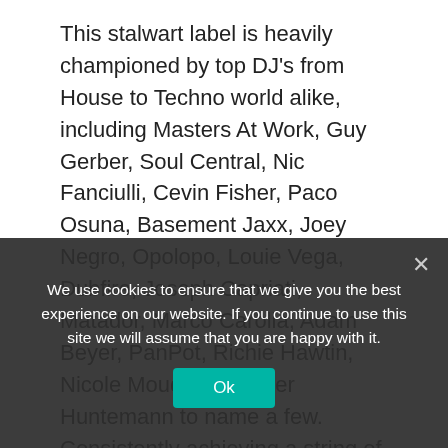This stalwart label is heavily championed by top DJ's from House to Techno world alike, including Masters At Work, Guy Gerber, Soul Central, Nic Fanciulli, Cevin Fisher, Paco Osuna, Basement Jaxx, Joey Negro, Opolopo, Louie Vega, Dubfire, Joseph Capriati, Matador, Marco Carolla, Adam Beyer, PanPot, Richie Hawtin, Nicole Moudaber, Oliver Huntemann to name a few. Consistently achieving a string of plays on BBC Radio 1 shows the brand is a veritable sleeping giant ready to awaken over 2022.

Born in Manchester, raised in Zambia, musically schooled in Sydney and now based in California...
We use cookies to ensure that we give you the best experience on our website. If you continue to use this site we will assume that you are happy with it.